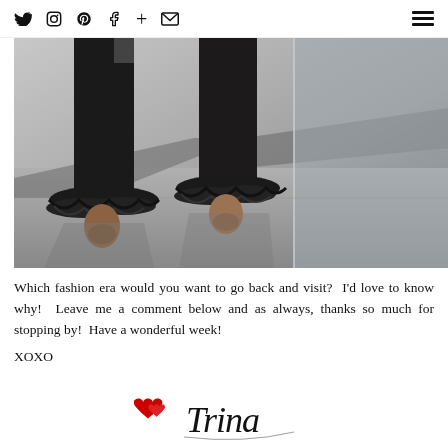Social media icons: Twitter, Instagram, Pinterest, Facebook, Plus, Email | Hamburger menu
[Figure (photo): Close-up photo of a woman's legs wearing black ruffled flare-hem trousers and tan/brown ankle-strap heeled mules, walking on a paved surface with dramatic shadows.]
Which fashion era would you want to go back and visit?  I'd love to know why!  Leave me a comment below and as always, thanks so much for stopping by!  Have a wonderful week!
XOXO
[Figure (illustration): Decorative blog signature with red heart icons and cursive script text reading 'Trina']